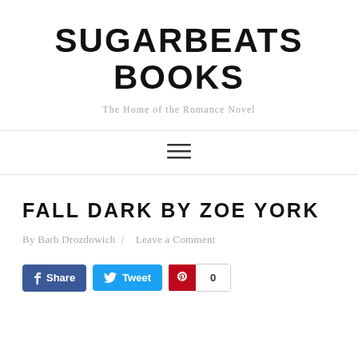SUGARBEATS BOOKS
The Home of the Romance Novel
[Figure (other): Hamburger menu navigation icon with three horizontal lines]
FALL DARK BY ZOE YORK
By Barb Drozdowich / Leave a Comment
[Figure (infographic): Social sharing buttons: Facebook Share, Twitter Tweet, Pinterest with count 0]